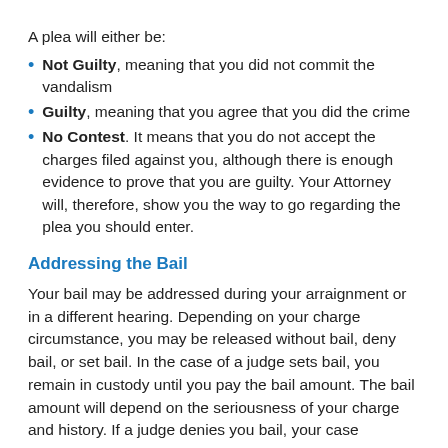A plea will either be:
Not Guilty, meaning that you did not commit the vandalism
Guilty, meaning that you agree that you did the crime
No Contest. It means that you do not accept the charges filed against you, although there is enough evidence to prove that you are guilty. Your Attorney will, therefore, show you the way to go regarding the plea you should enter.
Addressing the Bail
Your bail may be addressed during your arraignment or in a different hearing. Depending on your charge circumstance, you may be released without bail, deny bail, or set bail. In the case of a judge sets bail, you remain in custody until you pay the bail amount. The bail amount will depend on the seriousness of your charge and history. If a judge denies you bail, your case